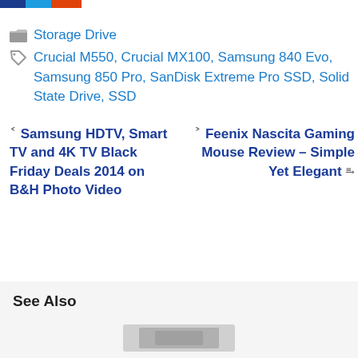[Figure (logo): Logo bar with three colored segments: dark blue, light blue, and orange]
Storage Drive
Crucial M550, Crucial MX100, Samsung 840 Evo, Samsung 850 Pro, SanDisk Extreme Pro SSD, Solid State Drive, SSD
< Samsung HDTV, Smart TV and 4K TV Black Friday Deals 2014 on B&H Photo Video
> Feenix Nascita Gaming Mouse Review – Simple Yet Elegant
See Also